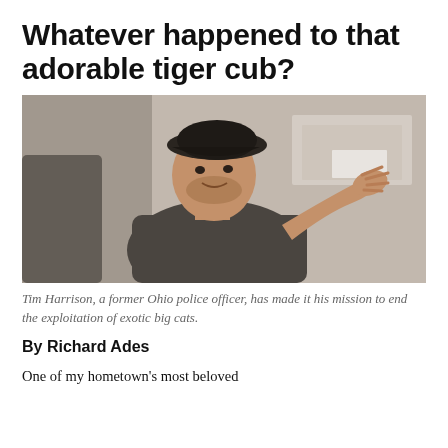Whatever happened to that adorable tiger cub?
[Figure (photo): Tim Harrison, a former Ohio police officer, wearing a dark cap and grey fleece, gesturing with his right hand while speaking, with boxes visible in the blurred background.]
Tim Harrison, a former Ohio police officer, has made it his mission to end the exploitation of exotic big cats.
By Richard Ades
One of my hometown's most beloved